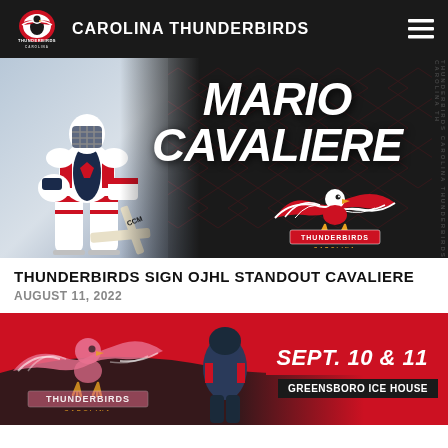CAROLINA THUNDERBIRDS
[Figure (photo): Mario Cavaliere signing announcement banner: hockey goalie photo on left, player name 'MARIO CAVALIERE' in large bold white text on dark background with diamond pattern, Carolina Thunderbirds logo (eagle with spread wings) on right]
THUNDERBIRDS SIGN OJHL STANDOUT CAVALIERE
AUGUST 11, 2022
[Figure (photo): Carolina Thunderbirds tryout/event promotional banner: red background with Thunderbirds logo on left, dark wave swoosh, hockey player photo center, 'SEPT. 10 & 11 GREENSBORO ICE HOUSE' text on right in white on red background]